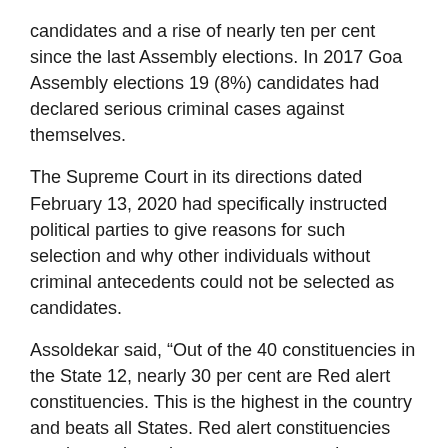candidates and a rise of nearly ten per cent since the last Assembly elections. In 2017 Goa Assembly elections 19 (8%) candidates had declared serious criminal cases against themselves.
The Supreme Court in its directions dated February 13, 2020 had specifically instructed political parties to give reasons for such selection and why other individuals without criminal antecedents could not be selected as candidates.
Assoldekar said, “Out of the 40 constituencies in the State 12, nearly 30 per cent are Red alert constituencies. This is the highest in the country and beats all States. Red alert constituencies are those where three or more contesting candidates have declared criminal cases against themselves.”
The report further stated that the role of money power in elections is evident from the fact that all major political parties give tickets to wealthy candidates. Among the major parties 38 (95%) out of 40 candidates from BJP, 32 (87%) out of 37